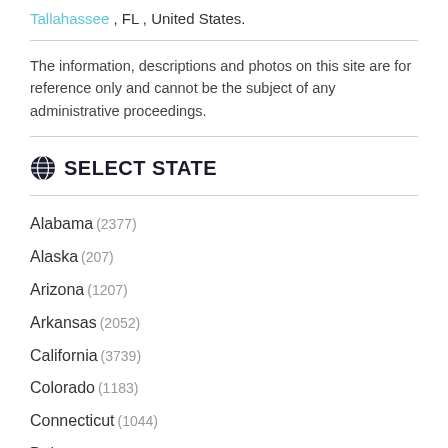Tallahassee , FL , United States.
The information, descriptions and photos on this site are for reference only and cannot be the subject of any administrative proceedings.
SELECT STATE
Alabama (2377)
Alaska (207)
Arizona (1207)
Arkansas (2052)
California (3739)
Colorado (1183)
Connecticut (1044)
Delaware (321)